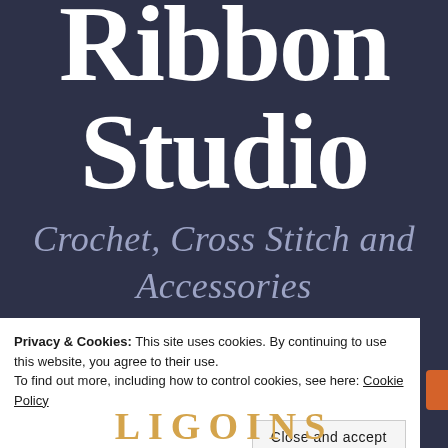Ribbon Studio
Crochet, Cross Stitch and Accessories
Privacy & Cookies: This site uses cookies. By continuing to use this website, you agree to their use.
To find out more, including how to control cookies, see here: Cookie Policy
Close and accept
LIGOINS